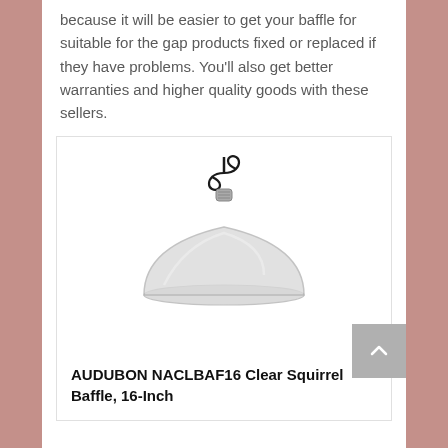because it will be easier to get your baffle for suitable for the gap products fixed or replaced if they have problems. You'll also get better warranties and higher quality goods with these sellers.
[Figure (photo): Product photo of a clear dome-shaped squirrel baffle hanging from a metal hook against a white background]
AUDUBON NACLBAF16 Clear Squirrel Baffle, 16-Inch